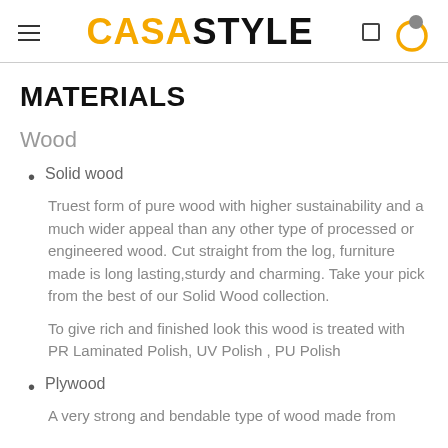CASASTYLE
MATERIALS
Wood
Solid wood
Truest form of pure wood with higher sustainability and a much wider appeal than any other type of processed or engineered wood. Cut straight from the log, furniture made is long lasting,sturdy and charming. Take your pick from the best of our Solid Wood collection.
To give rich and finished look this wood is treated with PR Laminated Polish, UV Polish , PU Polish
Plywood
A very strong and bendable type of wood made from